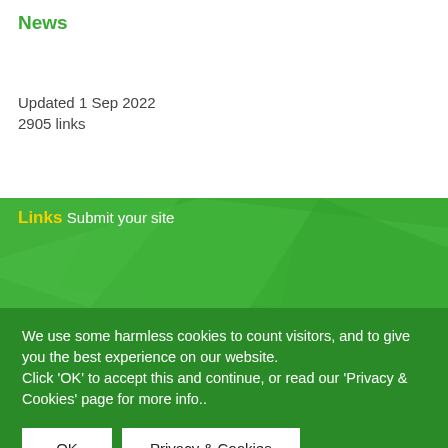News
Updated 1 Sep 2022
2905 links
Links
Submit your site
We use some harmless cookies to count visitors, and to give you the best experience on our website.
Click 'OK' to accept this and continue, or read our 'Privacy & Cookies' page for more info..
OK
Privacy & Cookies